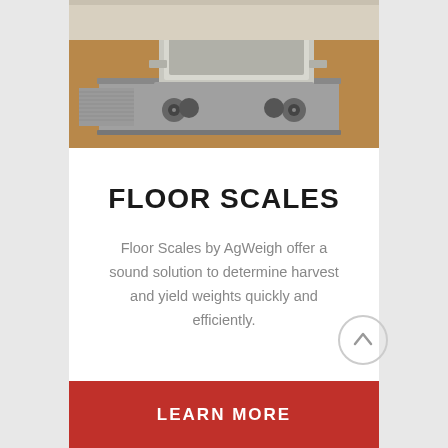[Figure (photo): A stainless steel cart/bin on wheels sitting on a floor scale platform inside an industrial facility with a wooden/brown floor]
FLOOR SCALES
Floor Scales by AgWeigh offer a sound solution to determine harvest and yield weights quickly and efficiently.
[Figure (other): Circular scroll-up button with an upward-pointing arrow]
LEARN MORE